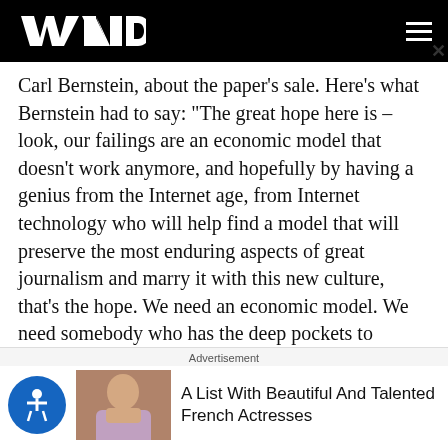WND
Carl Bernstein, about the paper's sale. Here's what Bernstein had to say: "The great hope here is – look, our failings are an economic model that doesn't work anymore, and hopefully by having a genius from the Internet age, from Internet technology who will help find a model that will preserve the most enduring aspects of great journalism and marry it with this new culture, that's the hope. We need an economic model. We need somebody who has the deep pockets to sustain great reporting. That's what's been lacking."
Well, Carl must be suffering from the effects of extreme
Advertisement
A List With Beautiful And Talented French Actresses